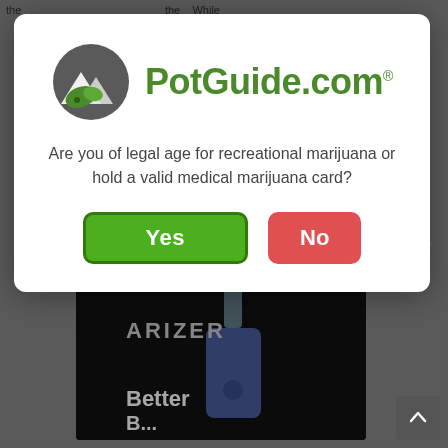sprays are available.
[Figure (screenshot): PotGuide.com age verification modal dialog with logo, question text, and Yes/No buttons]
[Figure (photo): Arizer vaporizer product advertisement showing device with text 'Better B...' on dark background]